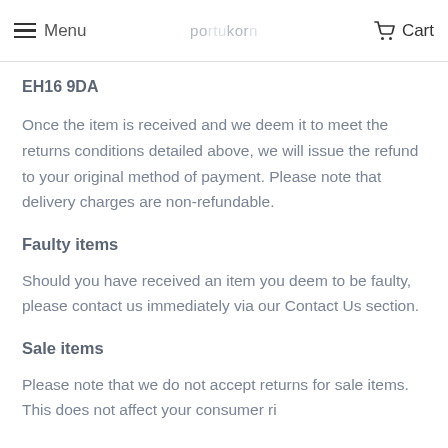Menu | Cart
EH16 9DA
Once the item is received and we deem it to meet the returns conditions detailed above, we will issue the refund to your original method of payment. Please note that delivery charges are non-refundable.
Faulty items
Should you have received an item you deem to be faulty, please contact us immediately via our Contact Us section.
Sale items
Please note that we do not accept returns for sale items. This does not affect your consumer ri...